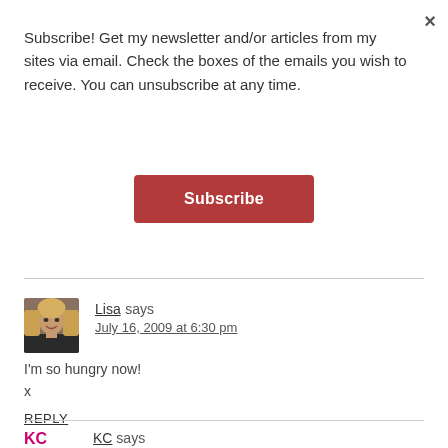× (close button)
Subscribe! Get my newsletter and/or articles from my sites via email. Check the boxes of the emails you wish to receive. You can unsubscribe at any time.
Subscribe (button)
Lisa says
July 16, 2009 at 6:30 pm
I'm so hungry now!
x
REPLY
[Figure (photo): Avatar photo of Lisa, a woman with blonde hair smiling]
KC says